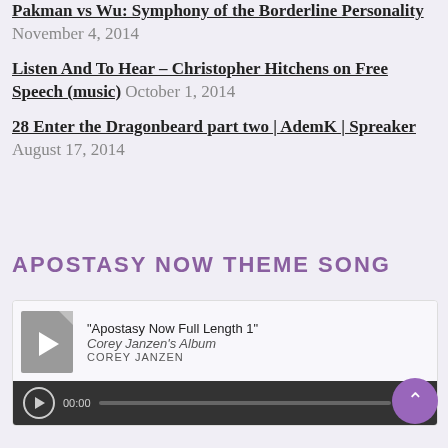Pakman vs Wu: Symphony of the Borderline Personality November 4, 2014
Listen And To Hear – Christopher Hitchens on Free Speech (music) October 1, 2014
28 Enter the Dragonbeard part two | AdemK | Spreaker August 17, 2014
APOSTASY NOW THEME SONG
[Figure (other): Audio player widget showing 'Apostasy Now Full Length 1' by Corey Janzen, with play button, progress bar, and timestamps 00:00]